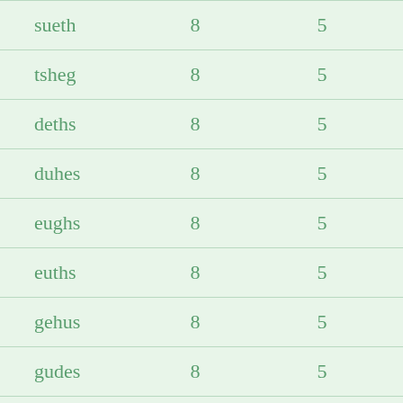| sueth | 8 | 5 |
| tsheg | 8 | 5 |
| deths | 8 | 5 |
| duhes | 8 | 5 |
| eughs | 8 | 5 |
| euths | 8 | 5 |
| gehus | 8 | 5 |
| gudes | 8 | 5 |
| guths | 8 | 5 |